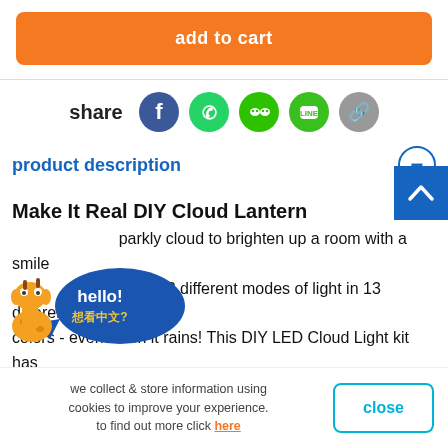[Figure (other): Orange 'add to cart' button]
[Figure (other): Share row with social media icons: Facebook, WhatsApp, WeChat, LINE, Link]
product description
Make It Real DIY Cloud Lantern
...sparkly cloud to brighten up a room with a smile ...brings 3 different modes of light in 13 different colors - even when it rains! This DIY LED Cloud Light kit has everything needed to build your own puffy cloud lamp ...give your room a touch of unique flair. Light up your ro...
[Figure (illustration): Giraffe mascot with hello bubble saying 'hello! 想看中文?']
[Figure (other): Blue scroll-up arrow button]
we collect & store information using cookies to improve your experience. to find out more click here